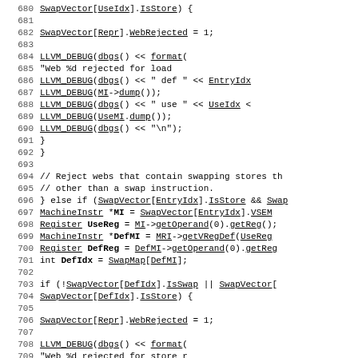Source code listing, lines 680-709, showing C++ code with LLVM debug statements and swap vector logic